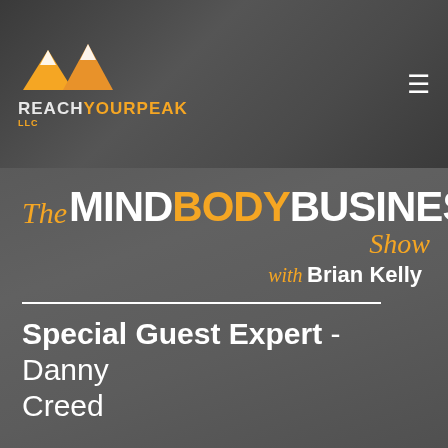[Figure (logo): Reach Your Peak LLC logo with mountain graphic in orange and white/grey text on dark background]
[Figure (logo): The Mind Body Business Show with Brian Kelly logo on dark grey background]
Special Guest Expert - Danny Creed